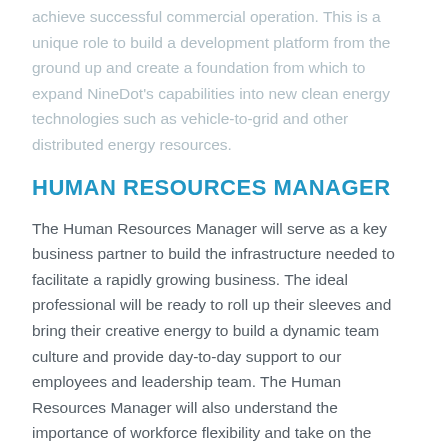achieve successful commercial operation. This is a unique role to build a development platform from the ground up and create a foundation from which to expand NineDot's capabilities into new clean energy technologies such as vehicle-to-grid and other distributed energy resources.
HUMAN RESOURCES MANAGER
The Human Resources Manager will serve as a key business partner to build the infrastructure needed to facilitate a rapidly growing business. The ideal professional will be ready to roll up their sleeves and bring their creative energy to build a dynamic team culture and provide day-to-day support to our employees and leadership team. The Human Resources Manager will also understand the importance of workforce flexibility and take on the challenge of building connections with remote team members to maintain a cohesive company culture. Most